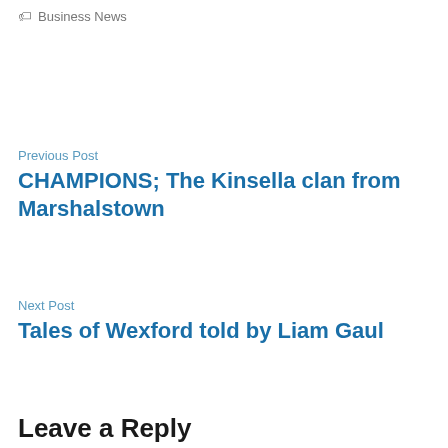🏷 Business News
Previous Post
CHAMPIONS; The Kinsella clan from Marshalstown
Next Post
Tales of Wexford told by Liam Gaul
Leave a Reply